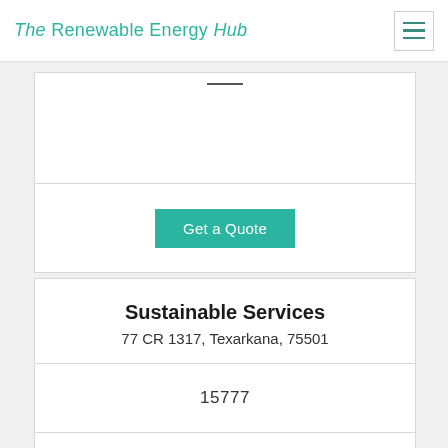The Renewable Energy Hub
[Figure (screenshot): Get a Quote button in teal/green color]
Sustainable Services
77 CR 1317, Texarkana, 75501
15777
[Figure (other): Five empty star rating icons]
[Figure (other): Empty checkbox square icon]